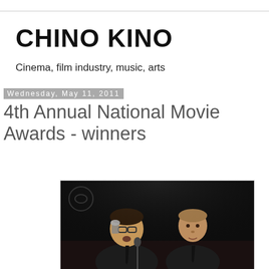CHINO KINO
Cinema, film industry, music, arts
Wednesday, May 11, 2011
4th Annual National Movie Awards - winners
[Figure (photo): Two men in suits on a dark stage, one holding an award trophy, both at a microphone podium]